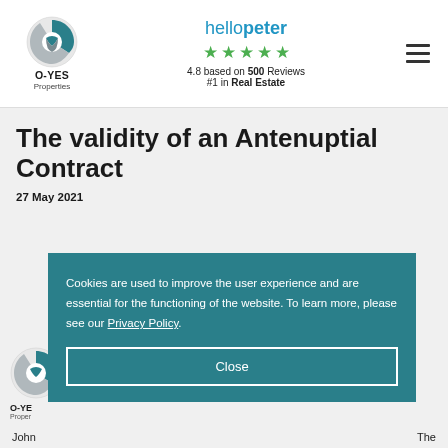[Figure (logo): O-YES Properties logo with circular graphic and company name]
[Figure (infographic): Hellopeter 4.8 stars rating badge — 4.8 based on 500 Reviews, #1 in Real Estate]
The validity of an Antenuptial Contract
27 May 2021
Cookies are used to improve the user experience and are essential for the functioning of the website. To learn more, please see our Privacy Policy.
Close
John
The